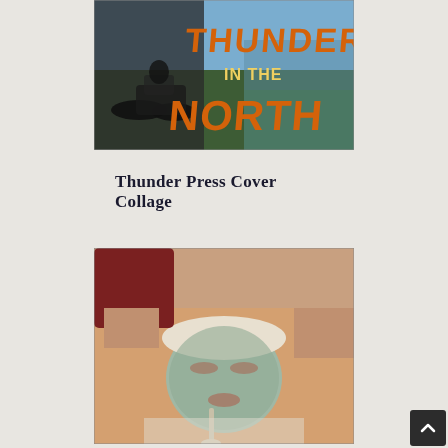[Figure (photo): Thunder in the North magazine cover collage showing motorcycles and outdoor scenes with bold orange and gold stylized text reading 'THUNDER IN THE NORTH']
Thunder Press Cover Collage
[Figure (photo): Woman lying down receiving a spa facial treatment with a grey/green clay mask applied to her face, a white headband, eyes closed, with a therapist's hands visible applying the mask with a brush]